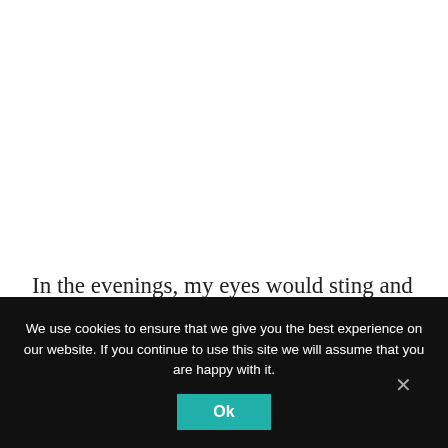In the evenings, my eyes would sting and water from the ash of burning trash piles lit in front of every home. The smell of melting plastic became something that I eventually grew used
We use cookies to ensure that we give you the best experience on our website. If you continue to use this site we will assume that you are happy with it.
Ok